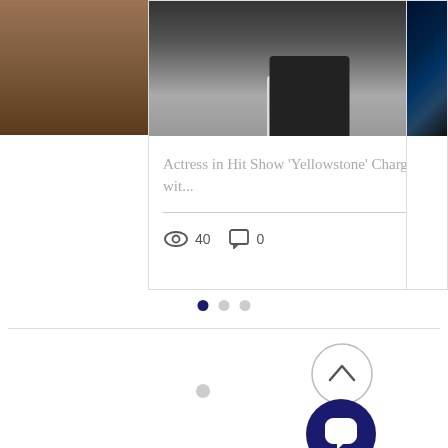[Figure (screenshot): Partial view of a news article card showing a woman in a dark blazer. Left and right partial cards also visible.]
Actress in Hit Show 'Yellowstone' Charged wit...
40 views, 0 comments, heart/like button
[Figure (infographic): Carousel pagination dots: one dark/active, two light/inactive]
[Figure (infographic): Scroll-to-top button: circle with upward chevron]
[Figure (infographic): Chat/message button: dark navy circle with speech bubble icon]